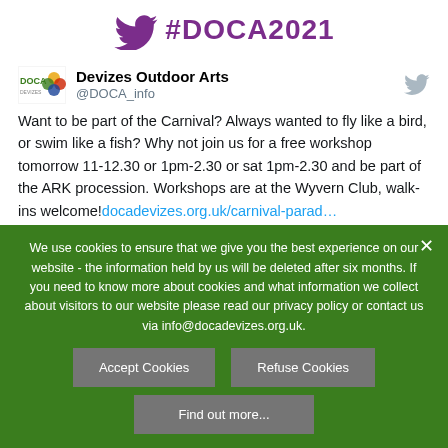[Figure (logo): Twitter bird icon with purple #DOCA2021 hashtag text]
Devizes Outdoor Arts @DOCA_info
Want to be part of the Carnival? Always wanted to fly like a bird, or swim like a fish? Why not join us for a free workshop tomorrow 11-12.30 or 1pm-2.30 or sat 1pm-2.30 and be part of the ARK procession. Workshops are at the Wyvern Club, walk-ins welcome! docadevizes.org.uk/carnival-parad…
We use cookies to ensure that we give you the best experience on our website - the information held by us will be deleted after six months. If you need to know more about cookies and what information we collect about visitors to our website please read our privacy policy or contact us via info@docadevizes.org.uk.
Accept Cookies
Refuse Cookies
Find out more...